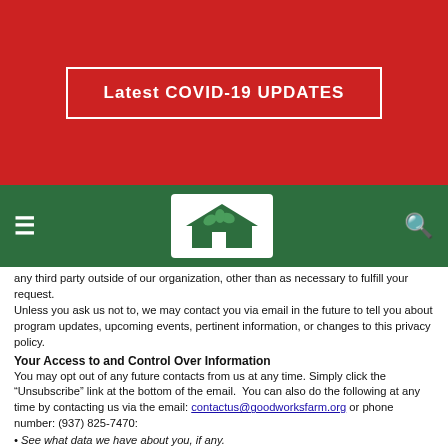[Figure (other): Red banner with COVID-19 updates button]
Latest COVID-19 UPDATES
[Figure (logo): GoodWorks Farm logo in green navigation bar]
any third party outside of our organization, other than as necessary to fulfill your request. Unless you ask us not to, we may contact you via email in the future to tell you about program updates, upcoming events, pertinent information, or changes to this privacy policy.
Your Access to and Control Over Information
You may opt out of any future contacts from us at any time. Simply click the “Unsubscribe” link at the bottom of the email.  You can also do the following at any time by contacting us via the email: contactus@goodworksfarm.org or phone number: (937) 825-7470:
• See what data we have about you, if any.
• Change/correct any data we have about you.
• Have us delete any data we have about you.
• Express any concern you have about our use of your data.
Security
We take precautions to protect your information. When you submit sensitive information via the website, your information is protected both online and offline. Wherever we collect sensitive information (such as credit card data), that information is encrypted and transmitted to us in a secure way. You can verify this